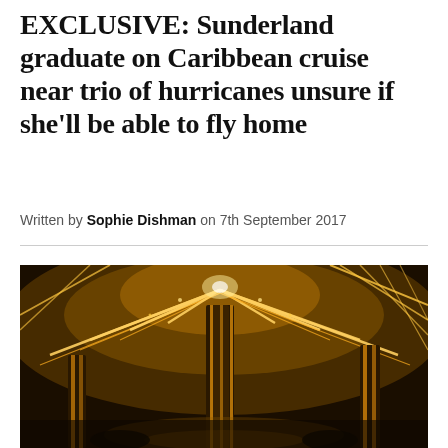EXCLUSIVE: Sunderland graduate on Caribbean cruise near trio of hurricanes unsure if she'll be able to fly home
Written by Sophie Dishman on 7th September 2017
[Figure (photo): Interior of a cruise ship with warm golden ambient lighting, decorative ceiling with radiating light strips, and ornate golden structural columns. Dark background with golden glow throughout.]